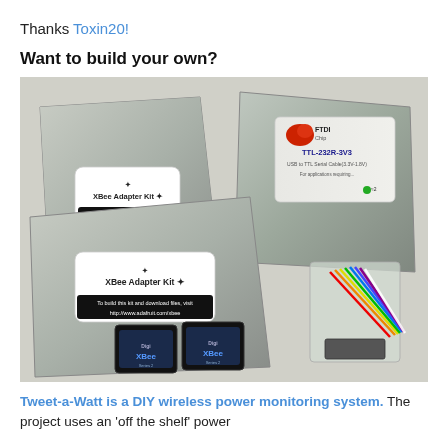Thanks Toxin20!
Want to build your own?
[Figure (photo): Photo of electronics components on a white surface: two XBee Adapter Kit foil bags, a FTDI Chip TTL-232R-3V3 USB to TTL serial cable in packaging, two XBee modules, a small bag with rainbow ribbon cable and components.]
Tweet-a-Watt is a DIY wireless power monitoring system. The project uses an 'off the shelf' power